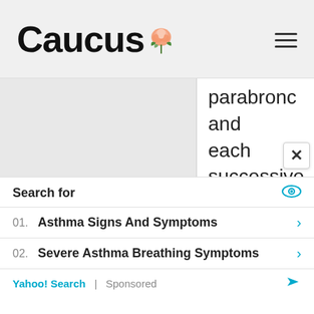Caucus
parabronc and each successive air capillary, the partial pressure of oxygen (PO2)
Search for
01. Asthma Signs And Symptoms
02. Severe Asthma Breathing Symptoms
Yahoo! Search | Sponsored